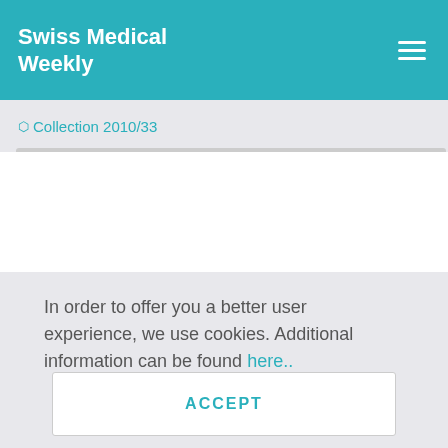Swiss Medical Weekly
Collection 2010/33
[Figure (flowchart): Box stating '7 articles met inclusion criteria']
Figure 1
Flow chart of publications
In order to offer you a better user experience, we use cookies. Additional information can be found here..
ACCEPT